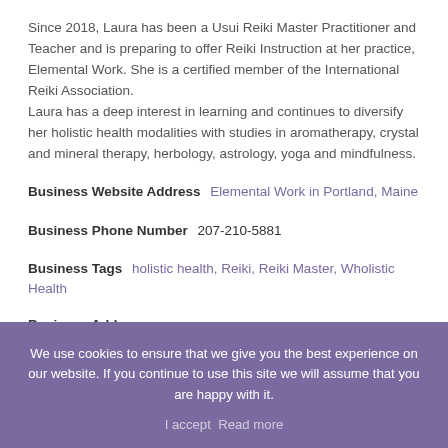Since 2018, Laura has been a Usui Reiki Master Practitioner and Teacher and is preparing to offer Reiki Instruction at her practice, Elemental Work. She is a certified member of the International Reiki Association. Laura has a deep interest in learning and continues to diversify her holistic health modalities with studies in aromatherapy, crystal and mineral therapy, herbology, astrology, yoga and mindfulness.
Business Website Address   Elemental Work in Portland, Maine
Business Phone Number  207-210-5881
Business Tags  holistic health, Reiki, Reiki Master, Wholistic Health
Business Address
12 Revere Street
We use cookies to ensure that we give you the best experience on our website. If you continue to use this site we will assume that you are happy with it.
I accept  Read more